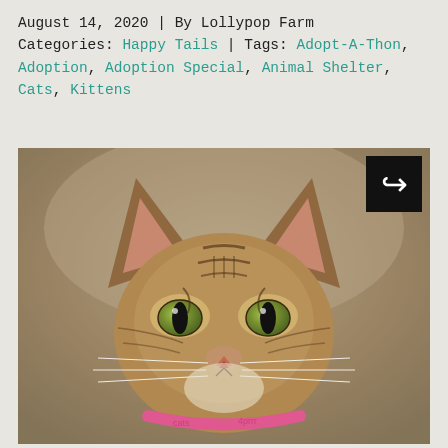August 14, 2020 | By Lollypop Farm
Categories: Happy Tails | Tags: Adopt-A-Thon, Adoption, Adoption Special, Animal Shelter, Cats, Kittens
[Figure (photo): Close-up portrait of a brown tabby kitten with green eyes, large ears, and a pink collar, photographed against a neutral gray-beige background. A black share button with a white arrow icon is visible in the top-right corner of the image.]